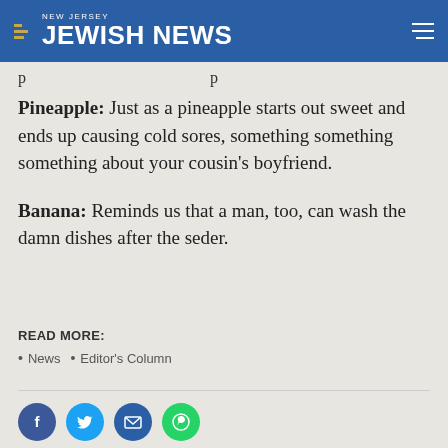NEW JERSEY JEWISH NEWS
p
Pineapple: Just as a pineapple starts out sweet and ends up causing cold sores, something something something about your cousin's boyfriend.
Banana: Reminds us that a man, too, can wash the damn dishes after the seder.
READ MORE:
News
Editor's Column